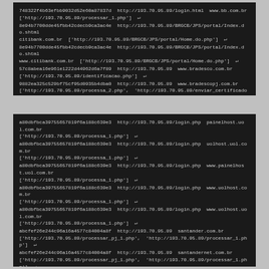[Figure (screenshot): Terminal/console output showing hash values, URLs (193.70.95.89), and domain names for bb.com.br, citibank.com.br, www.citibank.com.br, bradesco.com.br, bradescopj.com.br with associated PHP endpoint arrays]
[Figure (screenshot): Terminal/console output showing hash values, URLs (193.70.95.89), and domain names for painelhost.uol.com.br, uolhost.uol.com.br, www.painelhost.uol.com.br, www.uolhost.com.br, www.uolhost.uol.com.br, santander.com.br, santandernet.com.br, www.santander.com.br, www.santandernet.com.br with associated PHP endpoint arrays]